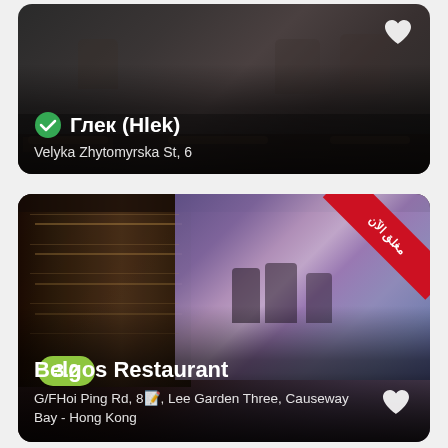[Figure (photo): Top restaurant card showing interior of Глек (Hlek) restaurant — dimly lit room with chairs and tables, dark ambiance. Green checkmark icon indicates verified/open status. White heart icon (favorite) in top right.]
✓ Глек (Hlek)
Velyka Zhytomyrska St, 6
[Figure (photo): Bottom restaurant card showing interior of Belgos Restaurant — colorful bar with shelves of bottles on left, large surrealist mural painting on right wall. Rating badge showing 3.2 in yellow-green. Red diagonal ribbon banner in top-right corner with Arabic text مغلق الآن (Closed Now). White heart icon (favorite) in bottom right.]
Belgos Restaurant
G/FHoi Ping Rd, 8🅝, Lee Garden Three, Causeway Bay - Hong Kong